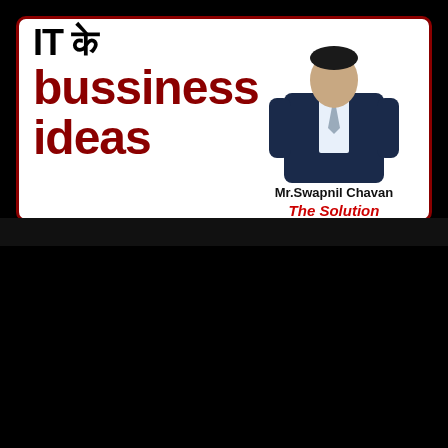[Figure (illustration): YouTube video thumbnail showing 'IT के bussiness ideas' in Hindi and English with Mr. Swapnil Chavan and 'The Solution' branding]
[Figure (screenshot): YouTube video player card showing the same thumbnail with channel icon, title 'it business ideas in india in hindi - In...', play button overlay, and Mr. Swapnil Chavan name]